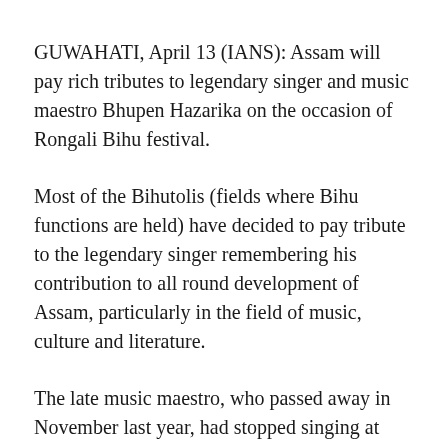GUWAHATI, April 13 (IANS): Assam will pay rich tributes to legendary singer and music maestro Bhupen Hazarika on the occasion of Rongali Bihu festival.
Most of the Bihutolis (fields where Bihu functions are held) have decided to pay tribute to the legendary singer remembering his contribution to all round development of Assam, particularly in the field of music, culture and literature.
The late music maestro, who passed away in November last year, had stopped singing at public functions a few years back due to old age, but he made it a point to travel back to the people of Assam during Rongali Bihu every